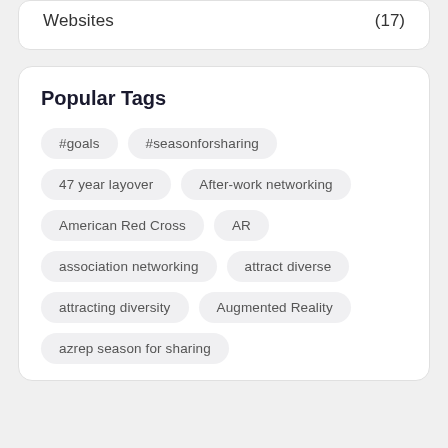Websites (17)
Popular Tags
#goals
#seasonforsharing
47 year layover
After-work networking
American Red Cross
AR
association networking
attract diverse
attracting diversity
Augmented Reality
azrep season for sharing